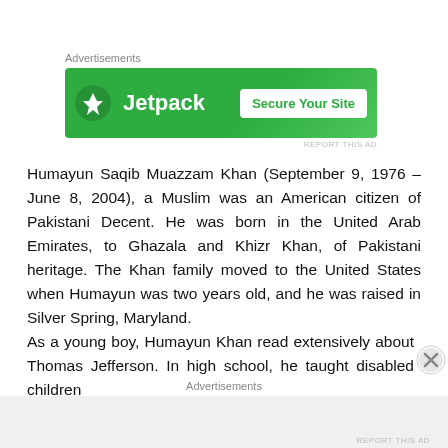Advertisements
[Figure (other): Jetpack advertisement banner with green background, Jetpack logo and icon on the left, and a 'Secure Your Site' white button on the right.]
REPORT THIS AD
Humayun Saqib Muazzam Khan (September 9, 1976 – June 8, 2004), a Muslim was an American citizen of Pakistani Decent. He was born in the United Arab Emirates, to Ghazala and Khizr Khan, of Pakistani heritage. The Khan family moved to the United States when Humayun was two years old, and he was raised in Silver Spring, Maryland.
As a young boy, Humayun Khan read extensively about Thomas Jefferson. In high school, he taught disabled children
Advertisements
REPORT THIS AD